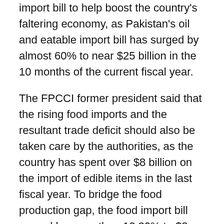import bill to help boost the country's faltering economy, as Pakistan's oil and eatable import bill has surged by almost 60% to near $25 billion in the 10 months of the current fiscal year.
The FPCCI former president said that the rising food imports and the resultant trade deficit should also be taken care by the authorities, as the country has spent over $8 billion on the import of edible items in the last fiscal year. To bridge the food production gap, the food import bill surged by more than 12.30% to $8 billion in 10MFY22 from $7 billion in the same period last year. The import bill might go up further in the coming months because the government continued to allow importing wheat and sugar to build strategic reserves.
The BMP Chairman observed that the economic managers will have to chalk out a long-term plan for import substitution and increasing exports so that Pakistan could